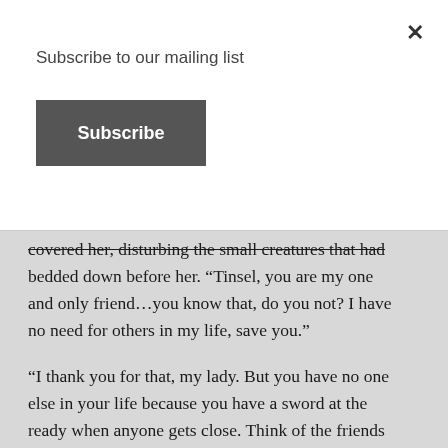Subscribe to our mailing list
Subscribe
covered her, disturbing the small creatures that had bedded down before her. “Tinsel, you are my one and only friend…you know that, do you not? I have no need for others in my life, save you.”
“I thank you for that, my lady. But you have no one else in your life because you have a sword at the ready when anyone gets close. Think of the friends we might have should you not be in competition all the time.” She laughed, as did he. “We are good for each other, neither of us needing much. We have all that we can carry because I was gifted a pocket, and when we are fighting, we are stronger than the